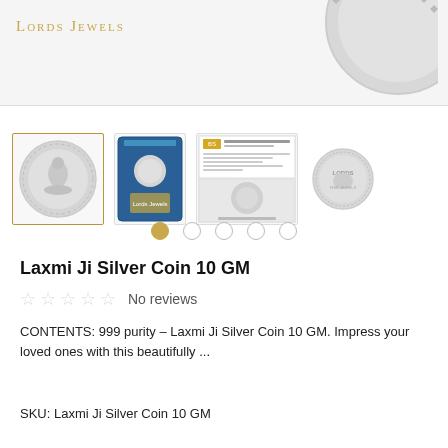[Figure (logo): Lords Jewels logo text in gold small-caps at top left]
[Figure (photo): Silver coin partially visible at top right, showing decorative diamond pattern border on a light grey background]
[Figure (photo): Row of product thumbnail images: (1) silver Laxmi Ji coin (selected, gold border), (2) coin in blue packaging card, (3) certificate/authentication card with coin, (4) reverse side of Lords silver coin]
Laxmi Ji Silver Coin 10 GM
☆ ☆ ☆ ☆ ☆  No reviews
CONTENTS: 999 purity – Laxmi Ji Silver Coin 10 GM. Impress your loved ones with this beautifully ...
SKU: Laxmi Ji Silver Coin 10 GM